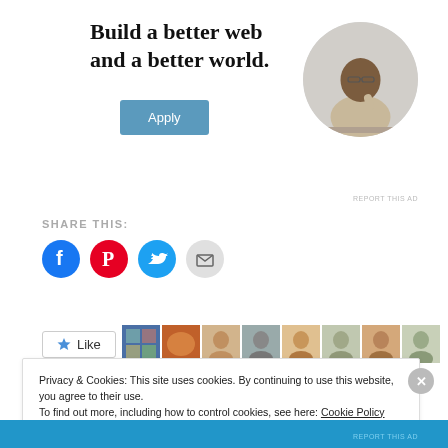[Figure (illustration): Advertisement banner: 'Build a better web and a better world.' with an Apply button and a circular photo of a person thinking at a desk]
REPORT THIS AD
SHARE THIS:
[Figure (illustration): Social share icons: Facebook (blue circle), Pinterest (red circle), Twitter (blue circle), Email (grey circle)]
[Figure (illustration): Like button with star icon and row of user thumbnail images]
Privacy & Cookies: This site uses cookies. By continuing to use this website, you agree to their use.
To find out more, including how to control cookies, see here: Cookie Policy
Close and accept